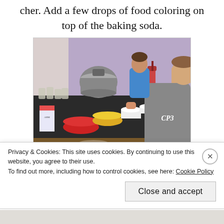cher. Add a few drops of food coloring on top of the baking soda.
[Figure (photo): Photo of children and an adult at a kitchen counter with colorful bowls (red, yellow, white), measuring cups, a pressure cooker, jars, and various kitchen items on a dark stovetop.]
Let one of the kids slowly pour 1/2 cup of vinegar into
Privacy & Cookies: This site uses cookies. By continuing to use this website, you agree to their use.
To find out more, including how to control cookies, see here: Cookie Policy
Close and accept